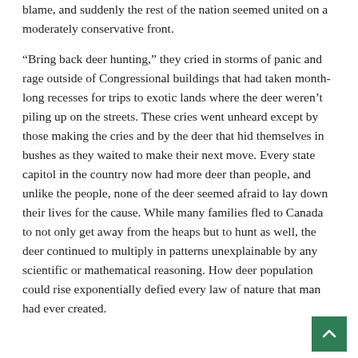blame, and suddenly the rest of the nation seemed united on a moderately conservative front.
“Bring back deer hunting,” they cried in storms of panic and rage outside of Congressional buildings that had taken month-long recesses for trips to exotic lands where the deer weren’t piling up on the streets. These cries went unheard except by those making the cries and by the deer that hid themselves in bushes as they waited to make their next move. Every state capitol in the country now had more deer than people, and unlike the people, none of the deer seemed afraid to lay down their lives for the cause. While many families fled to Canada to not only get away from the heaps but to hunt as well, the deer continued to multiply in patterns unexplainable by any scientific or mathematical reasoning. How deer population could rise exponentially defied every law of nature that man had ever created.